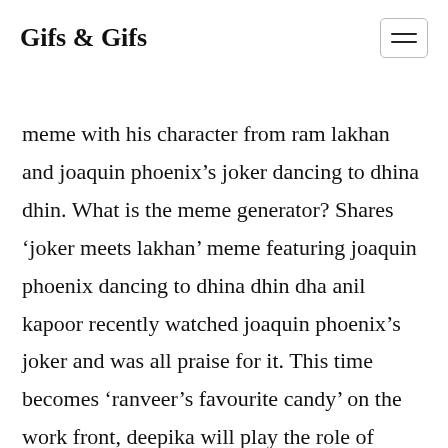Gifs & Gifs
meme with his character from ram lakhan and joaquin phoenix's joker dancing to dhina dhin. What is the meme generator? Shares 'joker meets lakhan' meme featuring joaquin phoenix dancing to dhina dhin dha anil kapoor recently watched joaquin phoenix's joker and was all praise for it. This time becomes 'ranveer's favourite candy' on the work front, deepika will play the role of husband ranveer's reel wife in